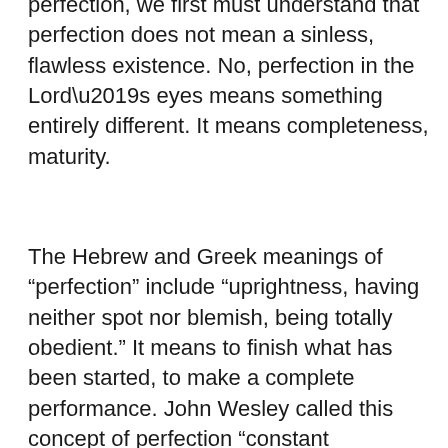perfection, we first must understand that perfection does not mean a sinless, flawless existence. No, perfection in the Lord’s eyes means something entirely different. It means completeness, maturity.
The Hebrew and Greek meanings of “perfection” include “uprightness, having neither spot nor blemish, being totally obedient.” It means to finish what has been started, to make a complete performance. John Wesley called this concept of perfection “constant obedience.” That is, a